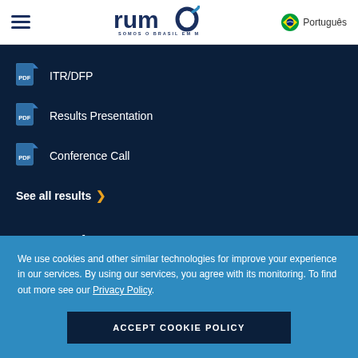[Figure (logo): Rumo logo with text SOMOS O BRASIL EM MOVIMENTO]
Português
ITR/DFP
Results Presentation
Conference Call
See all results
Last updates
We use cookies and other similar technologies for improve your experience in our services. By using our services, you agree with its monitoring. To find out more see our Privacy Policy.
ACCEPT COOKIE POLICY